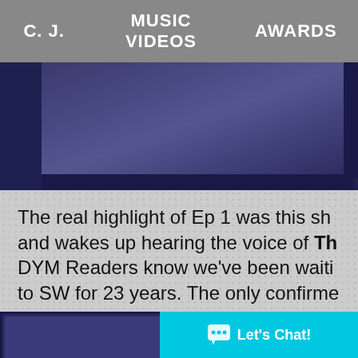C. J.   MUSIC VIDEOS   AWARDS
[Figure (screenshot): Top image strip showing a dark blue scene, partially cropped]
The real highlight of Ep 1 was this sh... and wakes up hearing the voice of Th... DYM Readers know we've been waiti... to SW for 23 years. The only confirme... Phantom Menace were in the "Mortis... 17). But that doesn't count cause it's ... those episodes was actually all in Ana... Liam Neesons did the voice of QG in... Liam Neesons, so we got our hopes v...
[Figure (screenshot): Bottom image strip, dark blue scene partially visible]
Let's Chat!